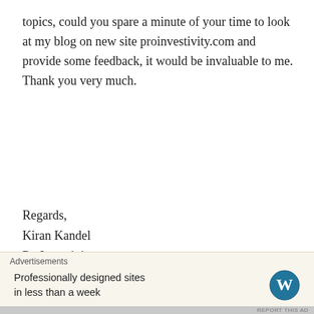topics, could you spare a minute of your time to look at my blog on new site proinvestivity.com and provide some feedback, it would be invaluable to me. Thank you very much.
Regards,
Kiran Kandel
ProInvestivity
★ Liked by 3 people
Reply
Ava Tripathy
Advertisements
Professionally designed sites in less than a week